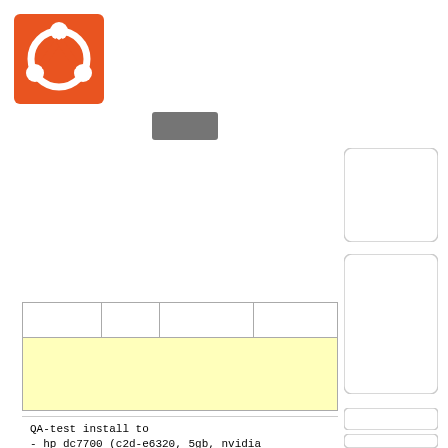[Figure (logo): Ubuntu logo: orange square with white circular symbol composed of three circular dots connected by a ring]
[Figure (other): Small grey/dark rounded rectangle button shape]
[Figure (other): White rounded rectangle box on right side, upper]
[Figure (other): White rounded rectangle box on right side, lower, taller]
|  |  |  |  |
| --- | --- | --- | --- |
|  |  |  |  |
|  |  |  |  |
[Figure (other): Yellow highlighted row within table]
[Figure (other): Small white rounded rectangle on right side, below main boxes]
[Figure (other): Small white rounded rectangle on right side, lowest]
QA-test install to
- hp dc7700 (c2d-e6320, 5gb, nvidia quadro nvs 290)